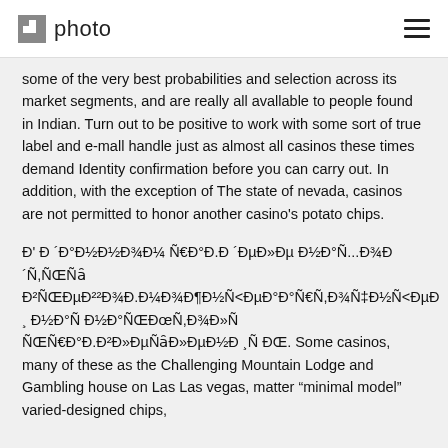photo
some of the very best probabilities and selection across its market segments, and are really all avallable to people found in Indian. Turn out to be positive to work with some sort of true label and e-mall handle just as almost all casinos these times demand Identity confirmation before you can carry out. In addition, with the exception of The state of nevada, casinos are not permitted to honor another casino's potato chips.
Đ' Đ ´Đ°Đ½Đ½Đ¾Đ¼ Ñ€Đ°Đ.Đ ´ĐµĐ»Đµ Đ½Đ°Ñ...Đ¾Đ ´Ñ,ÑŒÑ Đ²ÑŒĐµĐ²²Đ¾Đ.Đ¼Đ¾Đ¶Đ½Ñ<ĐµĐ°Đ°Ñ€Ñ,Đ¾Ñ‡Đ½Ñ<ĐµĐ ¸ Đ½Đ°Ñ ĐŒÑ,Đ¾Đ»Ñ ÑŒÑ€Đ°Đ.Đ²Đ»ĐµÑ‡ĐµĐ½Đ ¸ÑŒ. Some casinos, many of these as the Challenging Mountain Lodge and Gambling house on Las Las vegas, matter "minimal model" varied-designed chips,